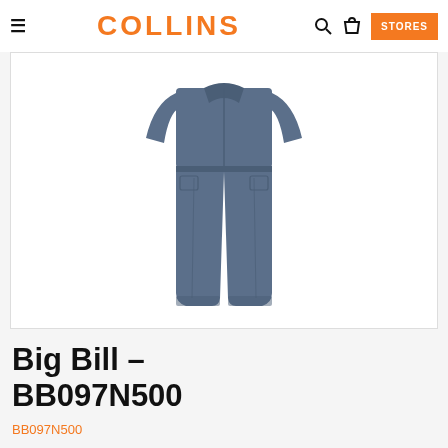COLLINS — STORES
[Figure (photo): Navy blue coverall / work suit displayed flat against white background, showing chest, sleeves, and full leg length]
Big Bill – BB097N500
BB097N500